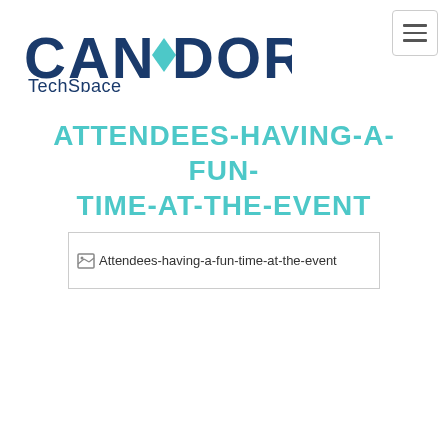[Figure (logo): Candor TechSpace logo with dark blue text and teal diamond icon]
ATTENDEES-HAVING-A-FUN-TIME-AT-THE-EVENT
[Figure (photo): Broken image placeholder with alt text: Attendees-having-a-fun-time-at-the-event]